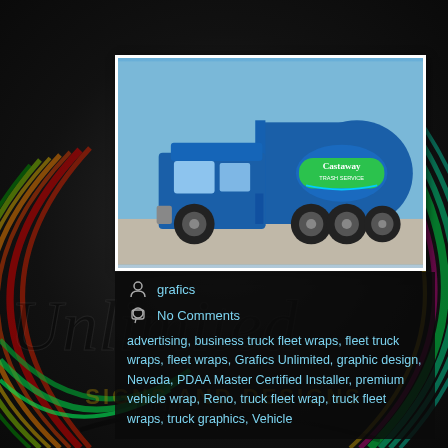[Figure (photo): Blue Castaway trash/garbage truck with company logo wrap, parked outdoors against a blue sky background]
grafics
No Comments
advertising, business truck fleet wraps, fleet truck wraps, fleet wraps, Grafics Unlimited, graphic design, Nevada, PDAA Master Certified Installer, premium vehicle wrap, Reno, truck fleet wrap, truck fleet wraps, truck graphics, Vehicle